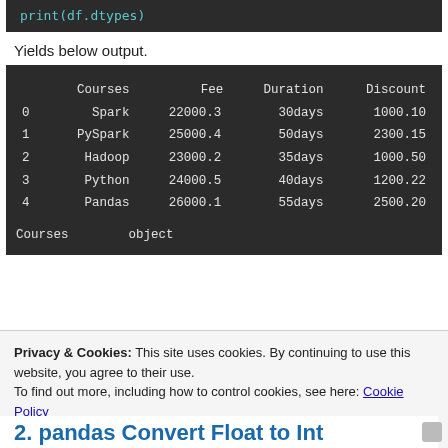[Figure (screenshot): Code block showing: print(df.dtypes)]
Yields below output.
[Figure (screenshot): Dark terminal output showing a pandas DataFrame with columns Courses, Fee, Duration, Discount and rows for Spark, PySpark, Hadoop, Python, Pandas, followed by dtype output showing Courses as object]
Privacy & Cookies: This site uses cookies. By continuing to use this website, you agree to their use.
To find out more, including how to control cookies, see here: Cookie Policy
2. pandas Convert Float to Int